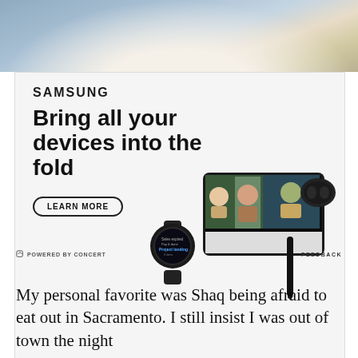[Figure (photo): Top strip showing people in an office/classroom setting]
[Figure (illustration): Samsung advertisement for Galaxy Z Fold4 showing Samsung logo, tagline 'Bring all your devices into the fold', LEARN MORE button, smartwatch, foldable phone with video call, earbuds, and stylus]
POWERED BY CONCERT   FEEDBACK
My personal favorite was Shaq being afraid to eat out in Sacramento. I still insist I was out of town the night